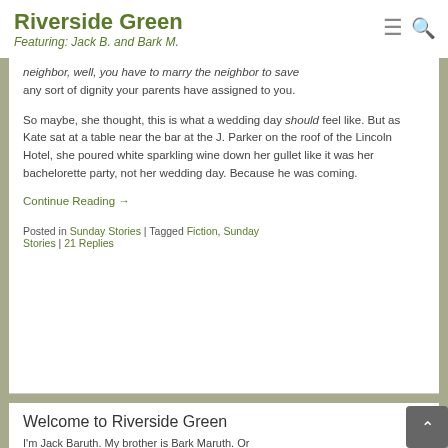Riverside Green — Featuring: Jack B. and Bark M.
neighbor, well, you have to marry the neighbor to save any sort of dignity your parents have assigned to you.
So maybe, she thought, this is what a wedding day should feel like. But as Kate sat at a table near the bar at the J. Parker on the roof of the Lincoln Hotel, she poured white sparkling wine down her gullet like it was her bachelorette party, not her wedding day. Because he was coming.
Continue Reading →
Posted in Sunday Stories | Tagged Fiction, Sunday Stories | 21 Replies
Welcome to Riverside Green
I'm Jack Baruth. My brother is Bark Maruth. Or